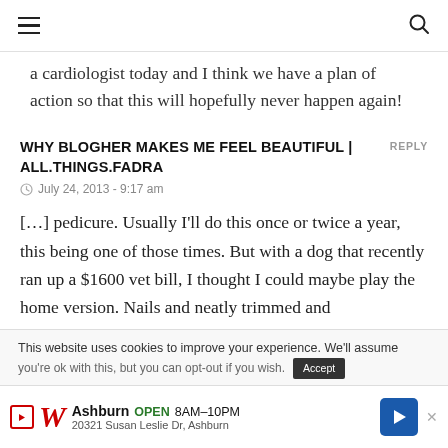≡  [search icon]
a cardiologist today and I think we have a plan of action so that this will hopefully never happen again!
WHY BLOGHER MAKES ME FEEL BEAUTIFUL | ALL.THINGS.FADRA
July 24, 2013 - 9:17 am
[…] pedicure. Usually I'll do this once or twice a year, this being one of those times. But with a dog that recently ran up a $1600 vet bill, I thought I could maybe play the home version. Nails and neatly trimmed and
This website uses cookies to improve your experience. We'll assume
[Figure (other): Walgreens advertisement banner showing store location in Ashburn, open 8AM-10PM, address 20321 Susan Leslie Dr, Ashburn]